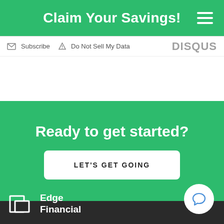Claim Your Savings!
Subscribe  Do Not Sell My Data  DISQUS
Ready to get started?
LET'S GET GOING
[Figure (logo): Edge Financial logo with square bracket icon and company name in white on dark background]
[Figure (illustration): White circular chat bubble icon on dark footer]